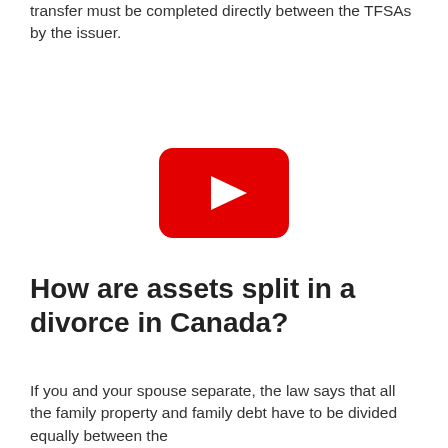transfer must be completed directly between the TFSAs by the issuer.
[Figure (other): YouTube play button icon — red rounded rectangle with white triangle play arrow in center]
How are assets split in a divorce in Canada?
If you and your spouse separate, the law says that all the family property and family debt have to be divided equally between the